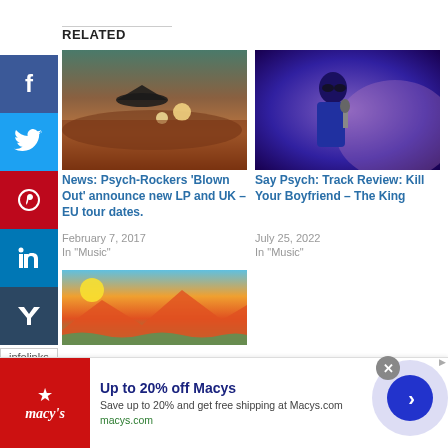RELATED
[Figure (photo): Dark sci-fi landscape with spaceship silhouette over sunset/clouds]
News: Psych-Rockers 'Blown Out' announce new LP and UK – EU tour dates.
February 7, 2017
In "Music"
[Figure (photo): Person in blue jacket singing/performing into microphone in purple-lit scene]
Say Psych: Track Review: Kill Your Boyfriend – The King
July 25, 2022
In "Music"
[Figure (photo): Colorful illustrated/graphic art landscape]
infolinks
[Figure (screenshot): Macy's advertisement banner: Up to 20% off Macys. Save up to 20% and get free shipping at Macys.com. macys.com]